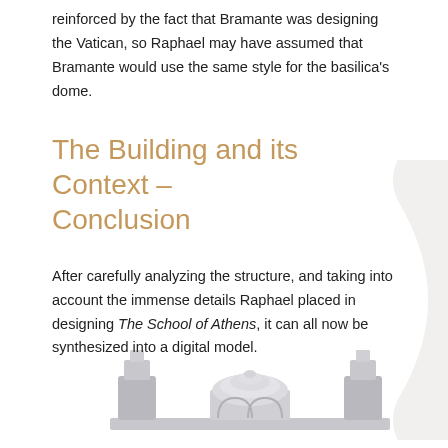reinforced by the fact that Bramante was designing the Vatican, so Raphael may have assumed that Bramante would use the same style for the basilica's dome.
The Building and its Context – Conclusion
After carefully analyzing the structure, and taking into account the immense details Raphael placed in designing The School of Athens, it can all now be synthesized into a digital model.
[Figure (photo): A 3D architectural model showing a domed building with arched structures, rendered in light gray/white tones, partially visible at the bottom of the page.]